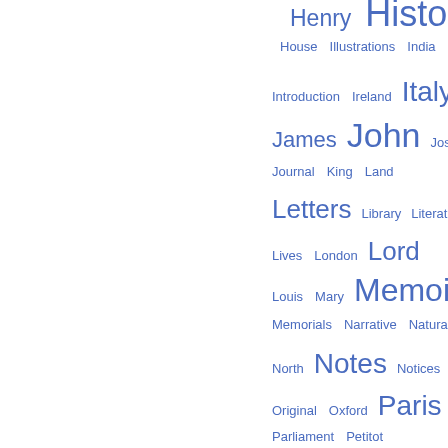[Figure (other): Tag cloud showing words in various font sizes in blue, including: Henry, History, House, Illustrations, India, Introduction, Ireland, Italy, James, John, Joseph, Journal, King, Land, Letters, Library, Literature, Lives, London, Lord, Louis, Mary, Memoirs, Memorials, Narrative, Natural, North, Notes, Notices, Original, Oxford, Paris, Parliament, Petitot, Pinkerton, Plays, Poems, Poetical, Political, Present, Public, Queen, Reform, Reign, relating, Report, Review, Richard, Right, Robert, Roman, Royal]